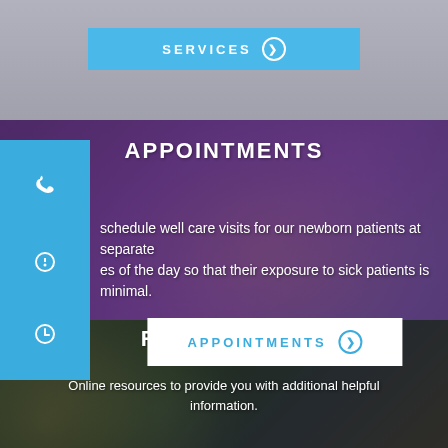[Figure (photo): Top photo strip showing a person outdoors, partially cropped]
SERVICES ❯
[Figure (photo): Family photo showing parents kissing a newborn baby, with purple overlay]
APPOINTMENTS
schedule well care visits for our newborn patients at separate es of the day so that their exposure to sick patients is minimal.
APPOINTMENTS ❯
[Figure (photo): Child blowing bubbles outdoors, dark overlay]
RESOURCES
Online resources to provide you with additional helpful information.